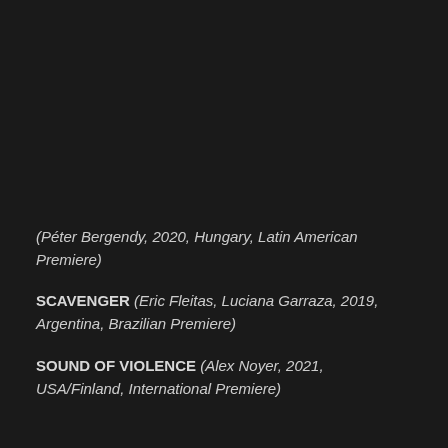(Péter Bergendy, 2020, Hungary, Latin American Premiere)
SCAVENGER (Eric Fleitas, Luciana Garraza, 2019, Argentina, Brazilian Premiere)
SOUND OF VIOLENCE (Alex Noyer, 2021, USA/Finland, International Premiere)